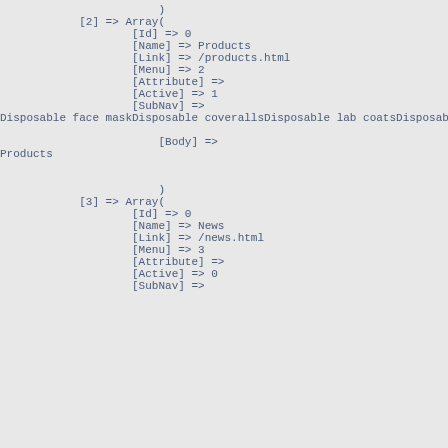)
[2] => Array(
        [Id] => 0
        [Name] => Products
        [Link] => /products.html
        [Menu] => 2
        [Attribute] =>
        [Active] => 1
        [SubNav] =>
Disposable face maskDisposable coverallsDisposable lab coatsDisposable g

                        [Body] =>
Products


                        )
[3] => Array(
        [Id] => 0
        [Name] => News
        [Link] => /news.html
        [Menu] => 3
        [Attribute] =>
        [Active] => 0
        [SubNav] =>